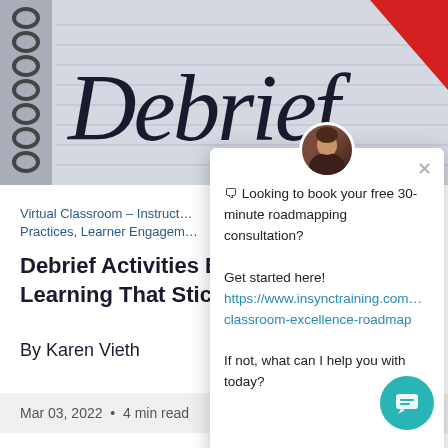[Figure (photo): Notebook with 'Debrief' written in cursive script on lined paper with spiral binding on the left and a red diagonal ribbon/stripe in the upper right corner.]
Virtual Classroom – Instructional Practices, Learner Engagement
Debrief Activities Bec… Learning That Sticks
By Karen Vieth
🗨 Looking to book your free 30-minute roadmapping consultation? Get started here! https://www.insynctraining.com...classroom-excellence-roadmap If not, what can I help you with today?
Mar 03, 2022 • 4 min read